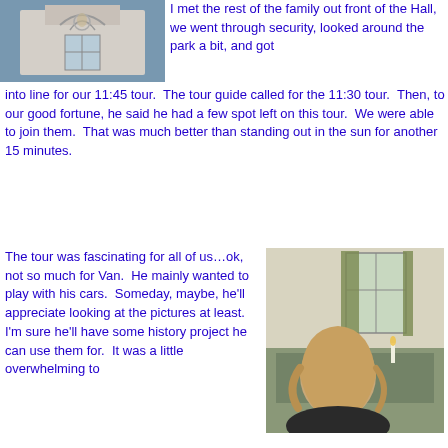[Figure (photo): Photo of building exterior with ornate architectural details, taken from below looking up]
I met the rest of the family out front of the Hall, we went through security, looked around the park a bit, and got into line for our 11:45 tour.  The tour guide called for the 11:30 tour.  Then, to our good fortune, he said he had a few spot left on this tour.  We were able to join them.  That was much better than standing out in the sun for another 15 minutes.
The tour was fascinating for all of us…ok, not so much for Van.  He mainly wanted to play with his cars.  Someday, maybe, he'll appreciate looking at the pictures at least.  I'm sure he'll have some history project he can use them for.  It was a little overwhelming to
[Figure (photo): Interior photo showing a person with long hair viewed from behind, seated at a historic desk/table, with colonial-era windows with green curtains in the background]